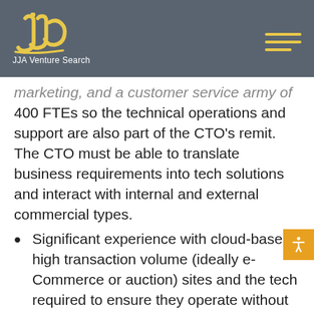[Figure (logo): JJA Venture Search logo with stylized 'jja' script in yellow/gold on dark grey background, with hamburger menu icon in gold on the right]
marketing, and a customer service army of 400 FTEs so the technical operations and support are also part of the CTO's remit. The CTO must be able to translate business requirements into tech solutions and interact with internal and external commercial types.
Significant experience with cloud-based, high transaction volume (ideally e-Commerce or auction) sites and the tech required to ensure they operate without a glitch—a must with 20,000 bids happening a day and a need for real-time communication and collaboration
Comfortable managing geographically distributed SW development and IT operational resources (including offshore